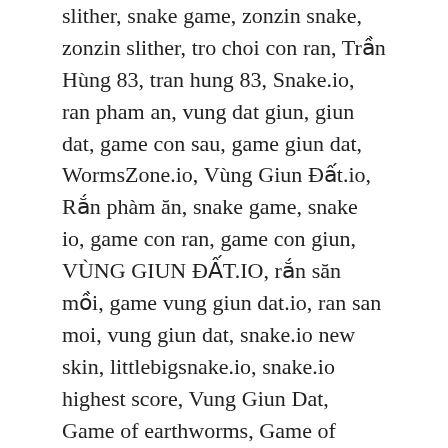slither, snake game, zonzin snake, zonzin slither, tro choi con ran, Trần Hùng 83, tran hung 83, Snake.io, ran pham an, vung dat giun, giun dat, game con sau, game giun dat, WormsZone.io, Vùng Giun Đất.io, Rắn phàm ăn, snake game, snake io, game con ran, game con giun, VÙNG GIUN ĐẤT.IO, rắn săn mồi, game vung giun dat.io, ran san moi, vung giun dat, snake.io new skin, littlebigsnake.io, snake.io highest score, Vung Giun Dat, Game of earthworms, Game of earthworms, Rắn Săn Mồi, rắn đen huyền thoại, kịch tính,